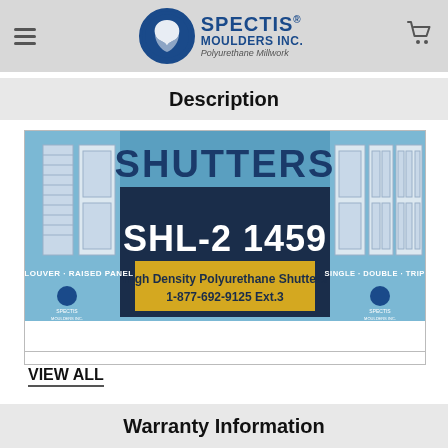Spectis Moulders Inc. - Polyurethane Millwork
Description
[Figure (photo): Spectis Moulders Inc. shutters product packaging image. Shows SHL-2 1459 High Density Polyurethane Shutters. Blue background with white shutter images on sides. Center dark navy banner with large white text 'SHL-2 1459' and gold/yellow banner reading 'High Density Polyurethane Shutters 1-877-692-9125 Ext.3'. Left side reads 'LOUVER - RAISED PANEL', right side reads 'SINGLE - DOUBLE - TRIPLE'. Top reads 'SHUTTERS'.]
VIEW ALL
Warranty Information